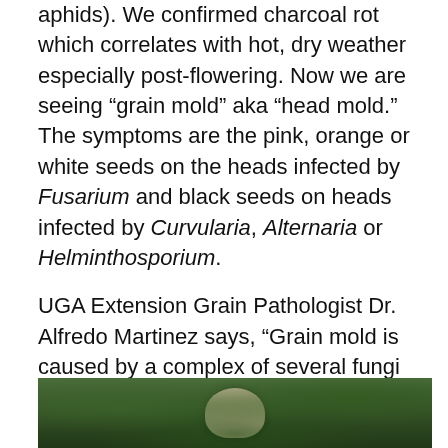aphids). We confirmed charcoal rot which correlates with hot, dry weather especially post-flowering. Now we are seeing "grain mold" aka "head mold." The symptoms are the pink, orange or white seeds on the heads infected by Fusarium and black seeds on heads infected by Curvularia, Alternaria or Helminthosporium.
UGA Extension Grain Pathologist Dr. Alfredo Martinez says, "Grain mold is caused by a complex of several fungi including Fusarium, Phoma, Curvularia and some others. High humidity/ rains which coincides with grain maturing can be the main effector of this disease. Nothing can be done at this point in terms of fungicides. Next season, planting date might be an option (trying not to coincide grain maturity with rains), genetic resistance."
[Figure (photo): Close-up photograph of a plant/grain head surrounded by green foliage, showing grain mold symptoms]